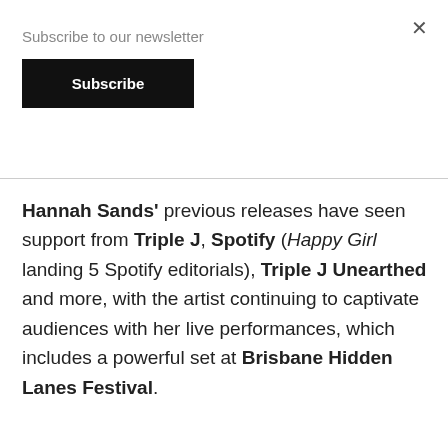Subscribe to our newsletter
Subscribe
Hannah Sands' previous releases have seen support from Triple J, Spotify (Happy Girl landing 5 Spotify editorials), Triple J Unearthed and more, with the artist continuing to captivate audiences with her live performances, which includes a powerful set at Brisbane Hidden Lanes Festival.